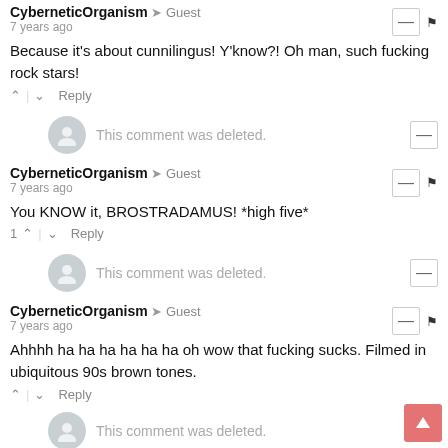CyberneticOrganism → Guest
7 years ago
Because it's about cunnilingus! Y'know?! Oh man, such fucking rock stars!
↑ | ↓  Reply
This comment was deleted.
CyberneticOrganism → Guest
7 years ago
You KNOW it, BROSTRADAMUS! *high five*
1 ↑ | ↓  Reply
This comment was deleted.
CyberneticOrganism → Guest
7 years ago
Ahhhh ha ha ha ha ha ha oh wow that fucking sucks. Filmed in ubiquitous 90s brown tones.
↑ | ↓  Reply
This comment was deleted.